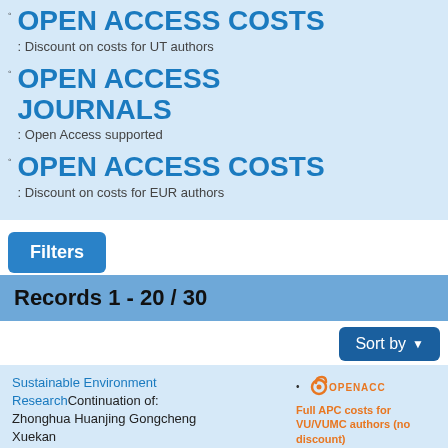OPEN ACCESS COSTS: Discount on costs for UT authors
OPEN ACCESS JOURNALS: Open Access supported
OPEN ACCESS COSTS: Discount on costs for EUR authors
Filters
Records 1 - 20 / 30
Sort by
Sustainable Environment Research Continuation of: Zhonghua Huanjing Gongcheng Xuekan
BMC
OPEN ACCESS
Full APC costs for VU/VUMC authors (no discount)